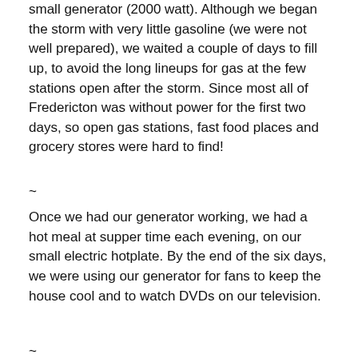small generator (2000 watt).  Although we began the storm with very little gasoline (we were not well prepared), we waited a couple of days to fill up, to avoid the long lineups for gas at the few stations open after the storm.  Since most all of Fredericton was without power for the first two days, so open gas stations, fast food places and grocery stores were hard to find!
~
Once we had our generator working, we had a hot meal at supper time each evening, on our small electric hotplate.  By the end of the six days, we were using our generator for fans to keep the house cool and to watch DVDs on our television.
~